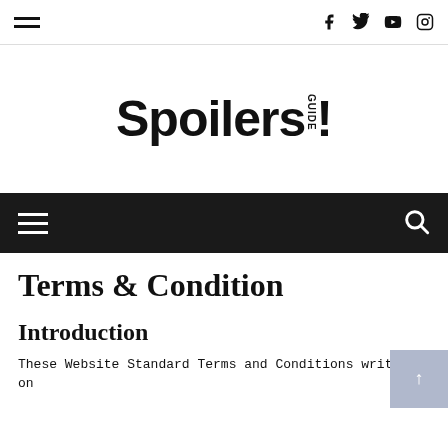Navigation bar with hamburger menu and social icons (Facebook, Twitter, YouTube, Instagram)
[Figure (logo): Spoilers! website logo in bold black serif font]
Dark navigation bar with hamburger menu and search icon
Terms & Condition
Introduction
These Website Standard Terms and Conditions written on